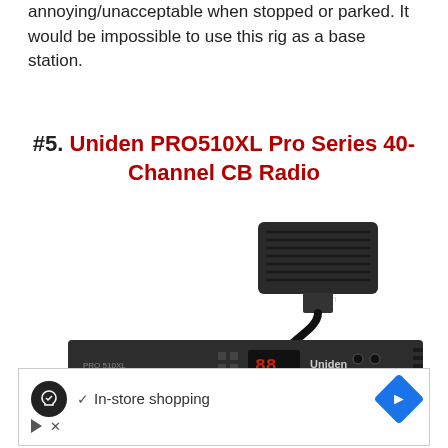annoying/unacceptable when stopped or parked. It would be impossible to use this rig as a base station.
#5. Uniden PRO510XL Pro Series 40-Channel CB Radio
[Figure (photo): Photo of Uniden PRO510XL Pro Series 40-Channel CB Radio — a black compact CB radio unit with a handheld microphone connected via coiled cord, digital channel display showing '88', and the Uniden brand name on the front panel.]
[Figure (screenshot): Advertisement box showing a circular logo icon, a checkmark with text 'In-store shopping', a blue diamond navigation icon, and small play/close icons at bottom left.]